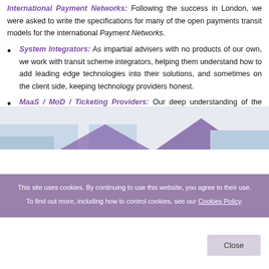International Payment Networks: Following the success in London, we were asked to write the specifications for many of the open payments transit models for the international Payment Networks.
System Integrators: As impartial advisers with no products of our own, we work with transit scheme integrators, helping them understand how to add leading edge technologies into their solutions, and sometimes on the client side, keeping technology providers honest.
MaaS / MoD / Ticketing Providers: Our deep understanding of the secure payment technologies makes us ideally placed to advise on the integration of various payment instruments into Mobility as a Service and Mobility on Demand schemes.
This site uses cookies. By continuing to use this website, you agree to their use. To find out more, including how to control cookies, see our Cookies Policy